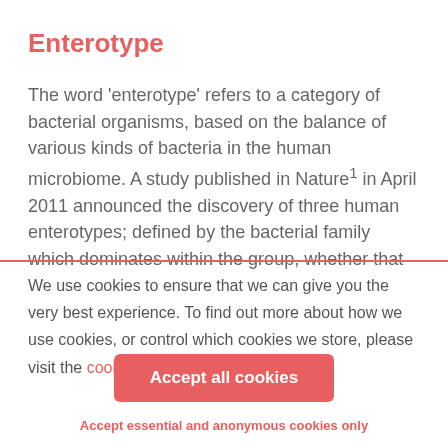Enterotype
The word 'enterotype' refers to a category of bacterial organisms, based on the balance of various kinds of bacteria in the human microbiome. A study published in Nature¹ in April 2011 announced the discovery of three human enterotypes; defined by the bacterial family which dominates within the group, whether that
We use cookies to ensure that we can give you the very best experience. To find out more about how we use cookies, or control which cookies we store, please visit the cookie policy page.
Accept all cookies
Accept essential and anonymous cookies only